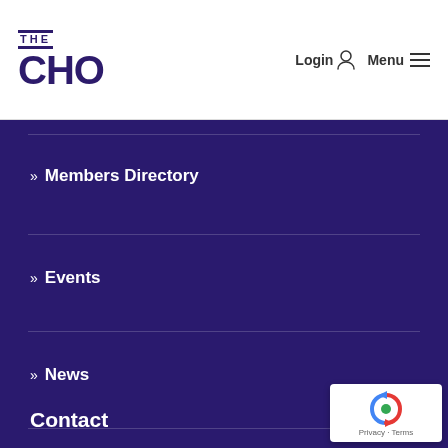THE CHO - Login | Menu
» Members Directory
» Events
» News
Contact